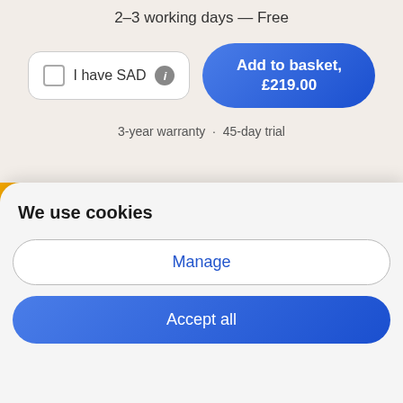2–3 working days — Free
I have SAD
Add to basket, £219.00
3-year warranty · 45-day trial
Compare wake-up lights
We use cookies
Manage
Accept all